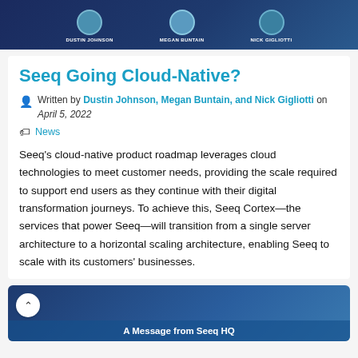[Figure (photo): Top dark blue banner with three circular profile photos and names: Dustin Johnson, Megan Buntain, Nick Gigliotti]
Seeq Going Cloud-Native?
Written by Dustin Johnson, Megan Buntain, and Nick Gigliotti on April 5, 2022
News
Seeq's cloud-native product roadmap leverages cloud technologies to meet customer needs, providing the scale required to support end users as they continue with their digital transformation journeys. To achieve this, Seeq Cortex—the services that power Seeq—will transition from a single server architecture to a horizontal scaling architecture, enabling Seeq to scale with its customers' businesses.
[Figure (photo): Bottom dark blue banner partially visible with text 'A Message from Seeq HQ' and a scroll-up button]